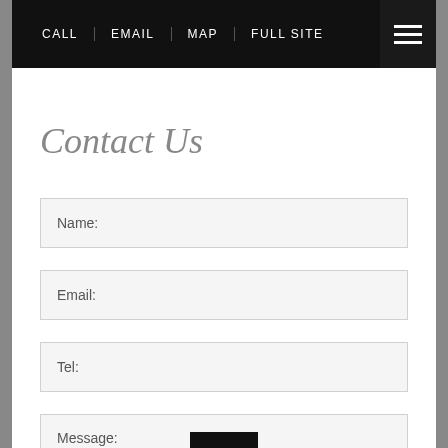CALL | EMAIL | MAP | FULL SITE
Contact Us
Name:
Email:
Tel:
Message: